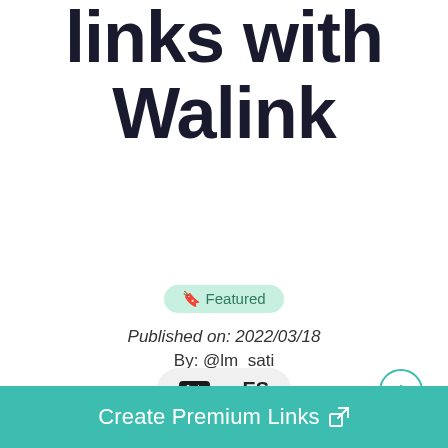links with Walink
🔖 Featured
Published on: 2022/03/18
By: @lm_sati
[Figure (other): Translation button showing 'A★ → ES' in a pill-shaped button]
[Figure (other): Circular scroll-up button with upward arrow]
Create Premium Links ↗